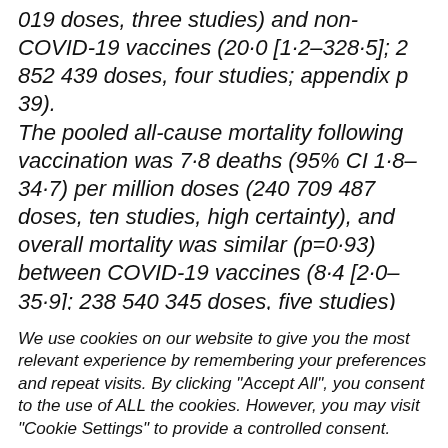019 doses, three studies) and non-COVID-19 vaccines (20·0 [1·2–328·5]; 2 852 439 doses, four studies; appendix p 39). The pooled all-cause mortality following vaccination was 7·8 deaths (95% CI 1·8–34·7) per million doses (240 709 487 doses, ten studies, high certainty), and overall mortality was similar (p=0·93) between COVID-19 vaccines (8·4 [2·0–35·9]; 238 540 345 doses, five studies) and non-COVID-19
We use cookies on our website to give you the most relevant experience by remembering your preferences and repeat visits. By clicking "Accept All", you consent to the use of ALL the cookies. However, you may visit "Cookie Settings" to provide a controlled consent.